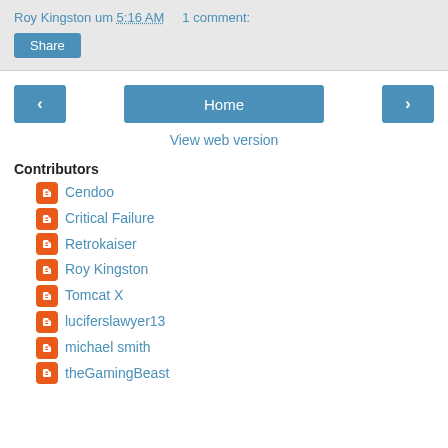Roy Kingston um 5:16 AM   1 comment:
Share
< Home >
View web version
Contributors
Cendoo
Critical Failure
Retrokaiser
Roy Kingston
Tomcat X
luciferslawyer13
michael smith
theGamingBeast